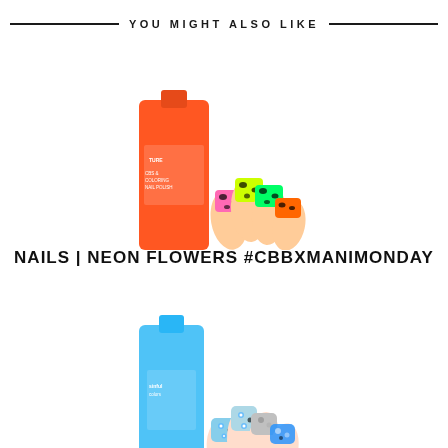YOU MIGHT ALSO LIKE
[Figure (photo): Neon leopard print nail art with orange, yellow, green, and pink nails next to an orange nail polish bottle]
NAILS | NEON FLOWERS #CBBXMANIMONDAY
[Figure (photo): Neon blue floral nail art with light blue and black flower designs next to a blue nail polish bottle]